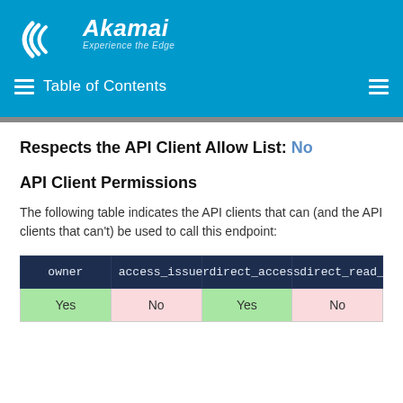Akamai — Experience the Edge — Table of Contents
Respects the API Client Allow List: No
API Client Permissions
The following table indicates the API clients that can (and the API clients that can't) be used to call this endpoint:
| owner | access_issuer | direct_access | direct_read_ |
| --- | --- | --- | --- |
| Yes | No | Yes | No |